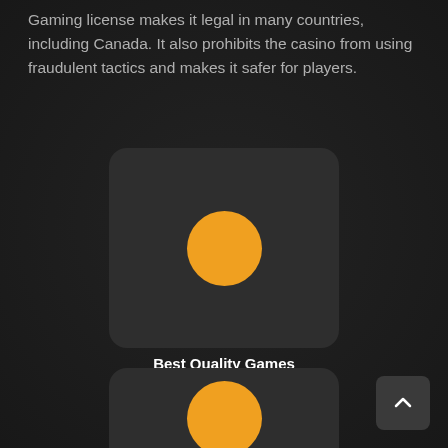Gaming license makes it legal in many countries, including Canada. It also prohibits the casino from using fraudulent tactics and makes it safer for players.
[Figure (illustration): Dark rounded rectangle card with a large orange/yellow circle icon centered inside it, representing 'Best Quality Games']
Best Quality Games
[Figure (illustration): Second dark rounded rectangle card partially visible at bottom with a large orange/yellow circle icon centered inside it]
[Figure (other): Scroll-to-top button: dark square with rounded corners and a white upward chevron arrow, positioned at bottom right]